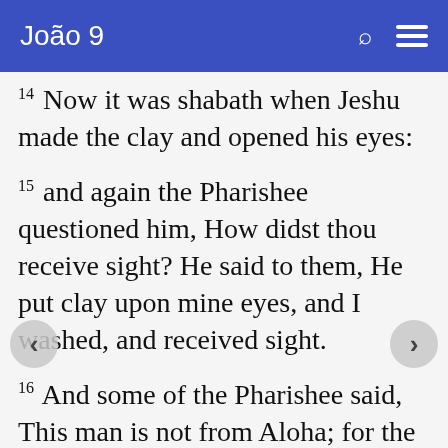João 9
14 Now it was shabath when Jeshu made the clay and opened his eyes:
15 and again the Pharishee questioned him, How didst thou receive sight? He said to them, He put clay upon mine eyes, and I washed, and received sight.
16 And some of the Pharishee said, This man is not from Aloha; for the shabath keepeth not. But others said, How can a man, a sinner, perform these signs? And there was a division among them.
17 They say again to the blind, What